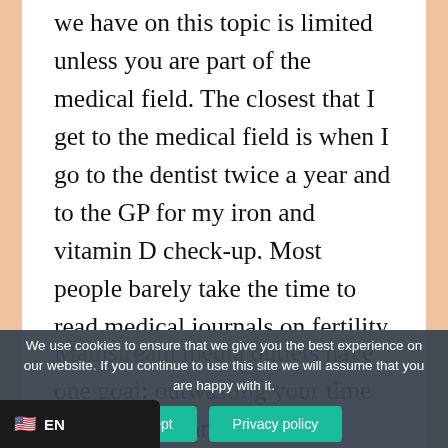we have on this topic is limited unless you are part of the medical field. The closest that I get to the medical field is when I go to the dentist twice a year and to the GP for my iron and vitamin D check-up. Most people barely take the time to read medical journals on fertility and delve into the questions of how was this research conducted, what were the findings, what are the sampling errors? This is the reason why I find it disturbing that medical topics in the mainstream media get covered in sensational way.
Mainstream media outlets have one goal: outwasting your time so that they can have far-reaching consequences for the beliefs of people have a product to sell. Discussing medical topics in a sensational way or topics can have far-reaching consequences for the beliefs of people
We use cookies to ensure that we give you the best experience on our website. If you continue to use this site we will assume that you are happy with it.